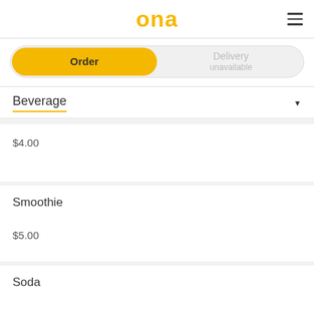ona
Order | Delivery unavailable
Beverage
$4.00
Smoothie
$5.00
Soda